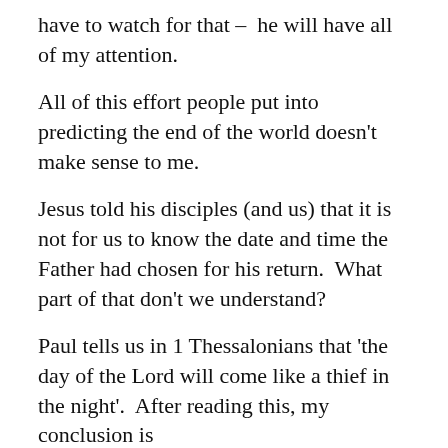have to watch for that – he will have all of my attention.
All of this effort people put into predicting the end of the world doesn't make sense to me.
Jesus told his disciples (and us) that it is not for us to know the date and time the Father had chosen for his return. What part of that don't we understand?
Paul tells us in 1 Thessalonians that 'the day of the Lord will come like a thief in the night'. After reading this, my conclusion is